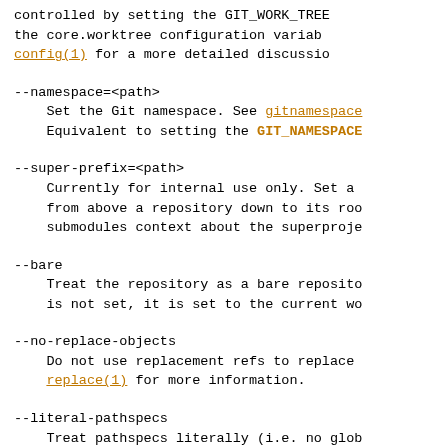controlled by setting the GIT_WORK_TREE the core.worktree configuration variable config(1) for a more detailed discussion
--namespace=<path>
    Set the Git namespace. See gitnamespace
    Equivalent to setting the GIT_NAMESPACE
--super-prefix=<path>
    Currently for internal use only. Set a
    from above a repository down to its roo
    submodules context about the superproje
--bare
    Treat the repository as a bare reposito
    is not set, it is set to the current wo
--no-replace-objects
    Do not use replacement refs to replace
    replace(1) for more information.
--literal-pathspecs
    Treat pathspecs literally (i.e. no glob
    This is equivalent to setting the GIT_L
    variable to 1.
--glob-pathspecs
    Add "glob" magic to all pathspec. This